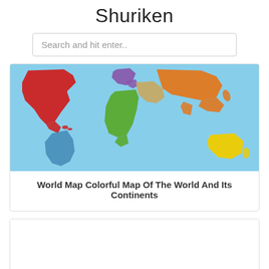Shuriken
Search and hit enter..
[Figure (map): Colorful world map showing continents in different colors: North America in red, South America in blue, Europe in purple, Africa in green, Middle East/Central Asia in tan/orange, Asia in orange, Australia in yellow, on a light blue ocean background.]
World Map Colorful Map Of The World And Its Continents